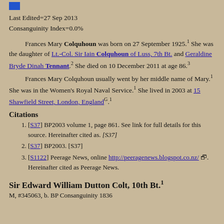[Figure (other): Small blue rectangle icon in top-left corner]
Last Edited=27 Sep 2013
Consanguinity Index=0.0%
Frances Mary Colquhoun was born on 27 September 1925.1 She was the daughter of Lt.-Col. Sir Iain Colquhoun of Luss, 7th Bt. and Geraldine Bryde Dinah Tennant.2 She died on 10 December 2011 at age 86.3
Frances Mary Colquhoun usually went by her middle name of Mary.1 She was in the Women's Royal Naval Service.1 She lived in 2003 at 15 Shawfield Street, London, EnglandG.1
Citations
[S37] BP2003 volume 1, page 861. See link for full details for this source. Hereinafter cited as. [S37]
[S37] BP2003. [S37]
[S1122] Peerage News, online http://peeragenews.blogspot.co.nz/. Hereinafter cited as Peerage News.
Sir Edward William Dutton Colt, 10th Bt.1
M, #345063, b. BP Consanguinity 1836...